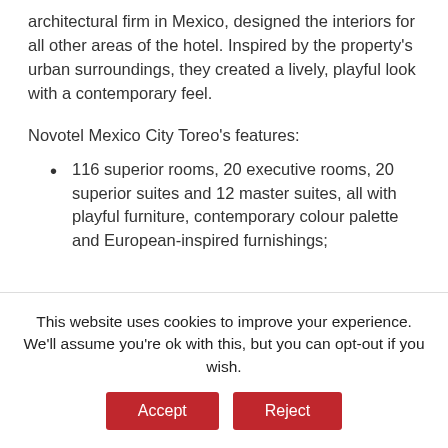architectural firm in Mexico, designed the interiors for all other areas of the hotel. Inspired by the property's urban surroundings, they created a lively, playful look with a contemporary feel.
Novotel Mexico City Toreo's features:
116 superior rooms, 20 executive rooms, 20 superior suites and 12 master suites, all with playful furniture, contemporary colour palette and European-inspired furnishings;
This website uses cookies to improve your experience. We'll assume you're ok with this, but you can opt-out if you wish.